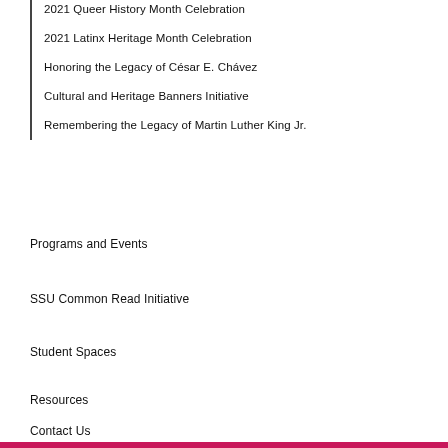2021 Queer History Month Celebration
2021 Latinx Heritage Month Celebration
Honoring the Legacy of César E. Chávez
Cultural and Heritage Banners Initiative
Remembering the Legacy of Martin Luther King Jr.
Programs and Events
SSU Common Read Initiative
Student Spaces
Resources
Contact Us